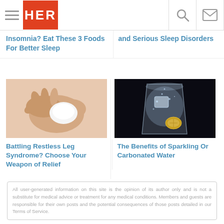HER (logo with hamburger menu, search, and mail icons)
Insomnia? Eat These 3 Foods For Better Sleep
and Serious Sleep Disorders
[Figure (photo): Hands scratching or touching skin (related to Restless Leg Syndrome article)]
Battling Restless Leg Syndrome? Choose Your Weapon of Relief
[Figure (photo): Glass of sparkling/carbonated water with ice and lemon on a dark background]
The Benefits of Sparkling Or Carbonated Water
All user-generated information on this site is the opinion of its author only and is not a substitute for medical advice or treatment for any medical conditions. Members and guests are responsible for their own posts and the potential consequences of those posts detailed in our Terms of Service.